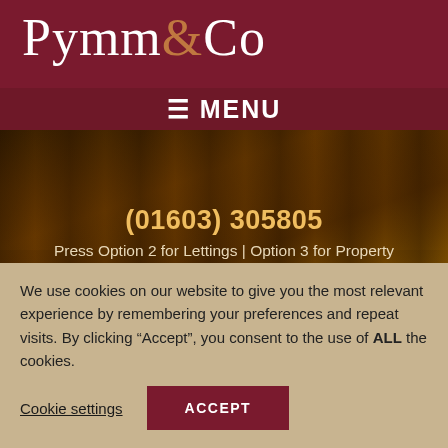Pymm&Co
≡ MENU
(01603) 305805
Press Option 2 for Lettings | Option 3 for Property Management
lettings@pymmand.co.uk
[Figure (screenshot): Three social media icons (Facebook, Twitter, Instagram) in dark red square buttons]
We use cookies on our website to give you the most relevant experience by remembering your preferences and repeat visits. By clicking “Accept”, you consent to the use of ALL the cookies.
Cookie settings
ACCEPT